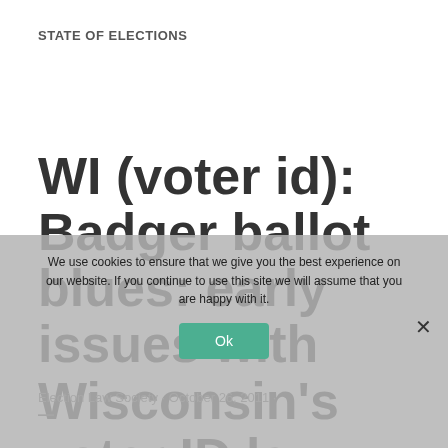STATE OF ELECTIONS
WI (voter id): Badger ballot blues: early issues with Wisconsin's voter ID law
Election Law Society · October 26, 2011 ·
—
We use cookies to ensure that we give you the best experience on our website. If you continue to use this site we will assume that you are happy with it.